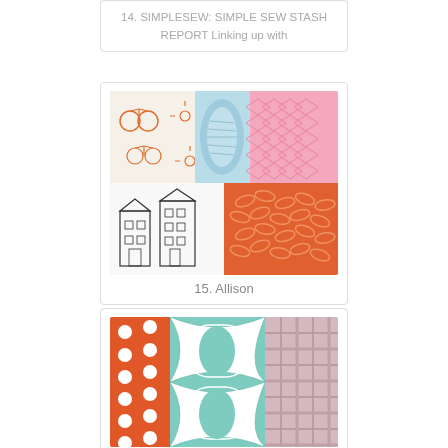14. SIMPLESEW: SIMPLE SEW STASH REPORT Linking up with
[Figure (photo): Collage of patterned fabric swatches: orange bicycle print, light blue rolled fabric, pink diamond pattern, black and white building/house print, and orange abstract swirl pattern]
15. Allison
[Figure (photo): Collage of patterned fabric swatches: orange polka dot strip, teal geometric/circle pattern, and pink plaid/grid pattern]